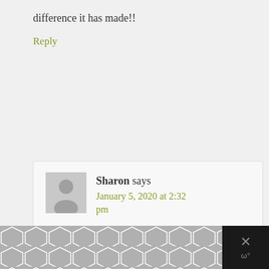difference it has made!!
Reply
Sharon says
January 5, 2020 at 2:32 pm
Hi heather
What exactly is kratom?

Sharon saw781@aol.com
[Figure (other): Dark advertisement bar at the bottom with a chevron/hexagon pattern and a close button with an X]